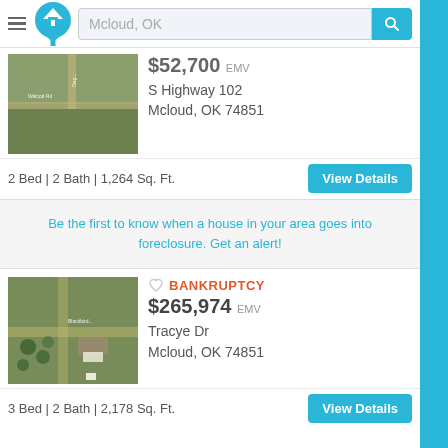[Figure (screenshot): App header with hamburger menu, home logo, search bar showing 'Mcloud, OK', and blue search button]
[Figure (photo): Aerial/satellite view of land parcel for S Highway 102, Mcloud OK]
$52,700 EMV
S Highway 102
Mcloud, OK 74851
2 Bed | 2 Bath | 1,264 Sq. Ft.
View Details
Be the first to know when a house in your area goes into foreclosure. Get an alert!
BANKRUPTCY
$265,974 EMV
Tracye Dr
Mcloud, OK 74851
[Figure (photo): Aerial/satellite view of property on Tracye Dr, Mcloud OK]
3 Bed | 2 Bath | 2,178 Sq. Ft.
View Details